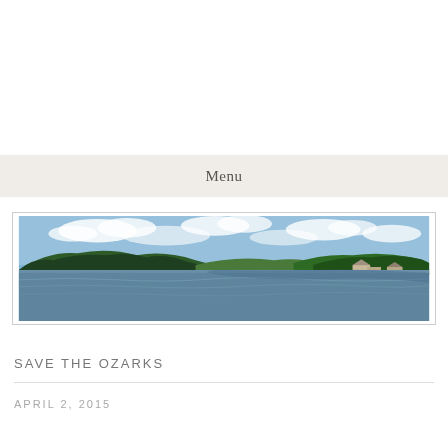Menu
[Figure (photo): Panoramic photo of a lake in the Ozarks with forested hills in the background, blue sky with clouds, and a few buildings visible among the trees on the right shore.]
SAVE THE OZARKS
APRIL 2, 2015